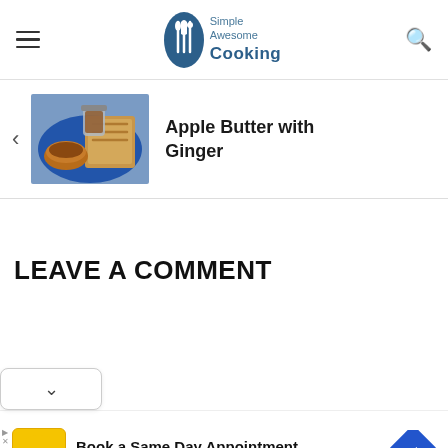Simple Awesome Cooking
[Figure (photo): Apple butter in a jar and bowl with toast on a blue plate]
Apple Butter with Ginger
LEAVE A COMMENT
[Figure (infographic): Advertisement: Hair Cuttery — Book a Same Day Appointment]